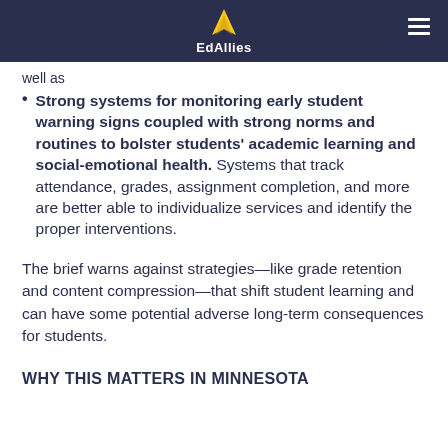EdAllies
well as
Strong systems for monitoring early student warning signs coupled with strong norms and routines to bolster students' academic learning and social-emotional health. Systems that track attendance, grades, assignment completion, and more are better able to individualize services and identify the proper interventions.
The brief warns against strategies—like grade retention and content compression—that shift student learning and can have some potential adverse long-term consequences for students.
WHY THIS MATTERS IN MINNESOTA